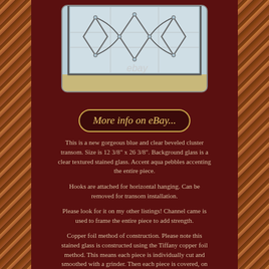[Figure (photo): Photo of a blue and clear beveled cluster stained glass transom panel with geometric diamond patterns, watermarked with 'ebay']
More info on eBay...
This is a new gorgeous blue and clear beveled cluster transom. Size is 12 3/8" x 26 3/8". Background glass is a clear textured stained glass. Accent aqua pebbles accenting the entire piece.
Hooks are attached for horizontal hanging. Can be removed for transom installation.
Please look for it on my other listings! Channel came is used to frame the entire piece to add strength.
Copper foil method of construction. Please note this stained glass is constructed using the Tiffany copper foil method. This means each piece is individually cut and smoothed with a grinder. Then each piece is covered, on